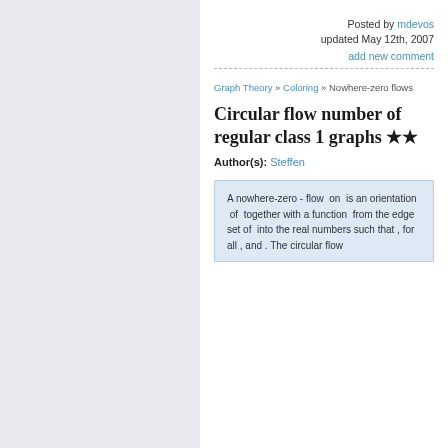Posted by mdevos
updated May 12th, 2007
add new comment
Graph Theory » Coloring » Nowhere-zero flows
Circular flow number of regular class 1 graphs ★★
Author(s): Steffen
A nowhere-zero - flow  on  is an orientation  of  together with a function  from the edge set of  into the real numbers such that , for all , and . The circular flow